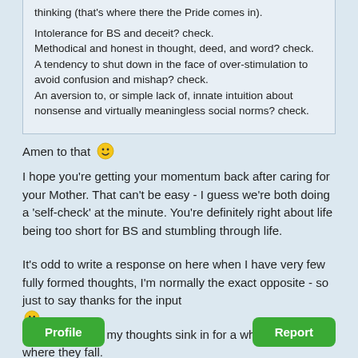thinking (that's where there the Pride comes in).

Intolerance for BS and deceit? check.
Methodical and honest in thought, deed, and word? check.
A tendency to shut down in the face of over-stimulation to avoid confusion and mishap? check.
An aversion to, or simple lack of, innate intuition about nonsense and virtually meaningless social norms? check.
Amen to that 😀
I hope you're getting your momentum back after caring for your Mother. That can't be easy - I guess we're both doing a 'self-check' at the minute. You're definitely right about life being too short for BS and stumbling through life.
It's odd to write a response on here when I have very few fully formed thoughts, I'm normally the exact opposite - so just to say thanks for the input 😀 I'm going to let my thoughts sink in for a while and see where they fall.
Profile
Report